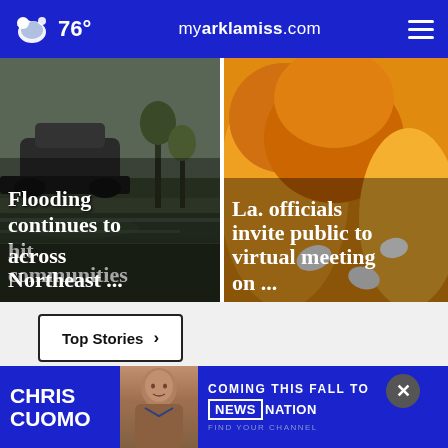76° myarklamiss.com
[Figure (photo): Flooding scene with submerged vehicle and water-covered ground, with headline overlay: Flooding continues to hit communities across Northeast ...]
[Figure (photo): Orange prescription pill bottles close-up, with headline overlay: La. officials invite public to virtual meeting on ...]
Top Stories ›
[Figure (photo): Advertisement banner: Chris Cuomo - Coming This Fall To NewsNation - Find Your Channel]